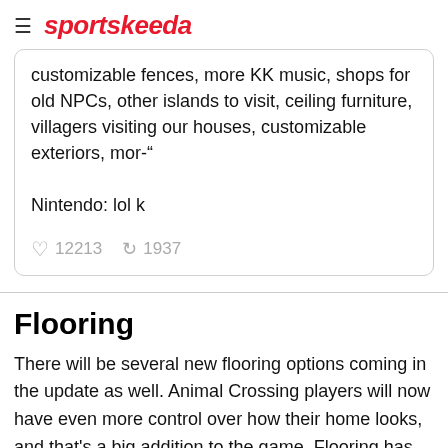sportskeeda
customizable fences, more KK music, shops for old NPCs, other islands to visit, ceiling furniture, villagers visiting our houses, customizable exteriors, mor-"

Nintendo: lol k

♥ 12213  🔁 1937
Flooring
There will be several new flooring options coming in the update as well. Animal Crossing players will now have even more control over how their home looks, and that's a big addition to the game. Flooring has been barely